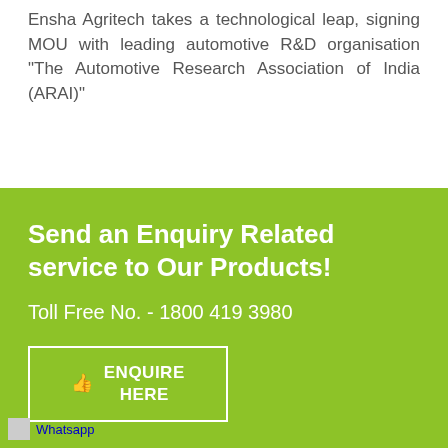Ensha Agritech takes a technological leap, signing MOU with leading automotive R&D organisation "The Automotive Research Association of India (ARAI)"
Send an Enquiry Related service to Our Products!
Toll Free No. - 1800 419 3980
ENQUIRE HERE
Whatsapp